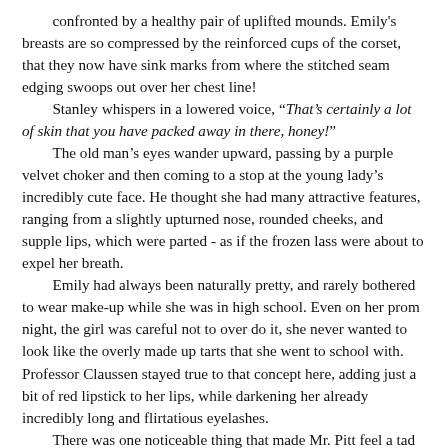confronted by a healthy pair of uplifted mounds. Emily's breasts are so compressed by the reinforced cups of the corset, that they now have sink marks from where the stitched seam edging swoops out over her chest line!
Stanley whispers in a lowered voice, "That's certainly a lot of skin that you have packed away in there, honey!"
The old man's eyes wander upward, passing by a purple velvet choker and then coming to a stop at the young lady's incredibly cute face. He thought she had many attractive features, ranging from a slightly upturned nose, rounded cheeks, and supple lips, which were parted - as if the frozen lass were about to expel her breath.
Emily had always been naturally pretty, and rarely bothered to wear make-up while she was in high school. Even on her prom night, the girl was careful not to over do it, she never wanted to look like the overly made up tarts that she went to school with. Professor Claussen stayed true to that concept here, adding just a bit of red lipstick to her lips, while darkening her already incredibly long and flirtatious eyelashes.
There was one noticeable thing that made Mr. Pitt feel a tad uneasy though, and it wasn't the vacant look of the girl's staring eyes; its was the physical texture of them. Normally a pretty light